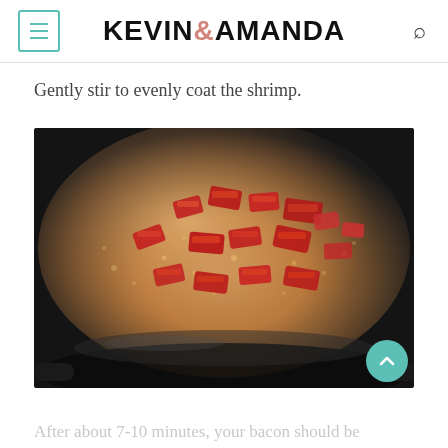KEVIN & AMANDA
Gently stir to evenly coat the shrimp.
[Figure (photo): Close-up photo of diced bacon and tomatoes sizzling in a dark cast-iron skillet with bubbling oil and rendered fat.]
After about 7-10 minutes, your bacon should be